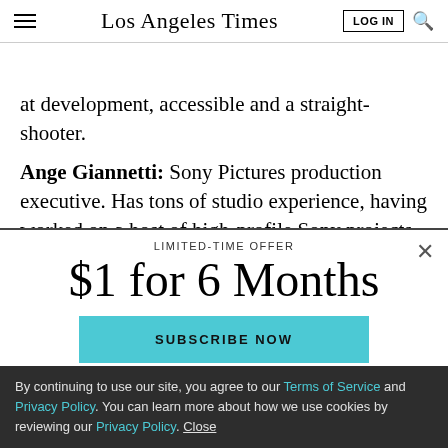Los Angeles Times
at development, accessible and a straight-shooter.
Ange Giannetti: Sony Pictures production executive. Has tons of studio experience, having worked on a host of high-profile Sony projects, including 'The Da Vinci
LIMITED-TIME OFFER
$1 for 6 Months
SUBSCRIBE NOW
By continuing to use our site, you agree to our Terms of Service and Privacy Policy. You can learn more about how we use cookies by reviewing our Privacy Policy. Close